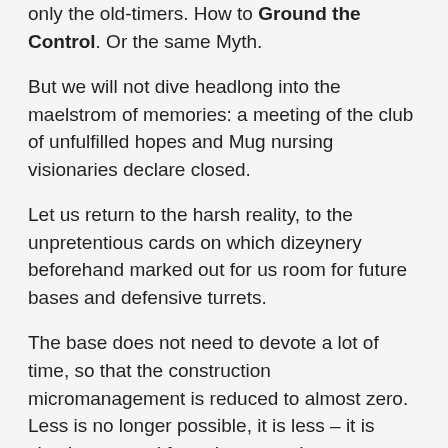only the old-timers. How to Ground the Control. Or the same Myth.
But we will not dive headlong into the maelstrom of memories: a meeting of the club of unfulfilled hopes and Mug nursing visionaries declare closed.
Let us return to the harsh reality, to the unpretentious cards on which dizeynery beforehand marked out for us room for future bases and defensive turrets.
The base does not need to devote a lot of time, so that the construction micromanagement is reduced to almost zero. Less is no longer possible, it is less – it is simply removed from the game the concept base. And by the way, the authors of Halo Wars 2 come to this in the “Blitz” mode, but about it – later.